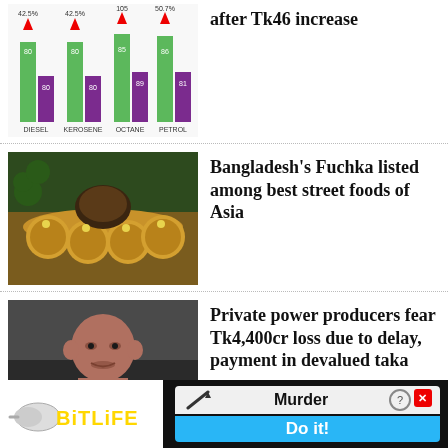[Figure (bar-chart): Bar chart showing fuel prices with green and purple bars for DIESEL, KEROSENE, OCTANE, PETROL with upward arrows and values]
after Tk46 increase
[Figure (photo): Photo of Fuchka (Indian street food) arranged on a wooden board with a bowl of sauce]
Bangladesh's Fuchka listed among best street foods of Asia
[Figure (photo): Photo of a bald man in a dark suit with a red tie]
Private power producers fear Tk4,400cr loss due to delay, payment in devalued taka
[Figure (other): BitLife advertisement banner with Murder / Do it! text]